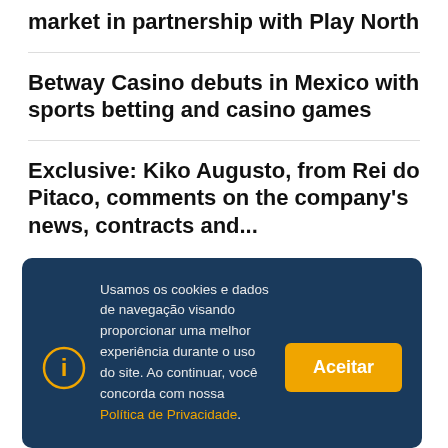market in partnership with Play North
Betway Casino debuts in Mexico with sports betting and casino games
Exclusive: Kiko Augusto, from Rei do Pitaco, comments on the company's news, contracts and...
Usamos os cookies e dados de navegação visando proporcionar uma melhor experiência durante o uso do site. Ao continuar, você concorda com nossa Política de Privacidade.